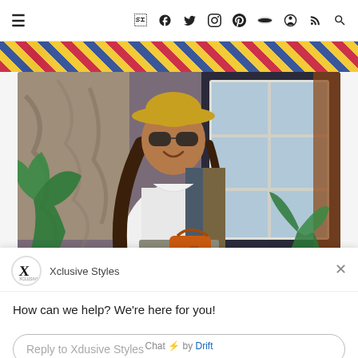≡   f  y  ⊙  ℗  ☁  ◯  )))  🔍
[Figure (photo): Partial top crop of a colorful African print fabric banner image]
[Figure (photo): Woman wearing a yellow hat, sunglasses, white and patterned African print dress, holding an orange handbag, standing in front of a house with palm plants and marbled wall]
Xclusive Styles
How can we help? We're here for you!
Reply to Xdusive Styles
Chat ⚡ by Drift